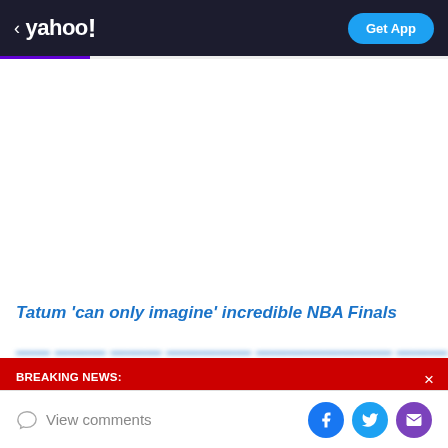< yahoo!  Get App
Tatum 'can only imagine' incredible NBA Finals
BREAKING NEWS: College Football Playoff is reportedly expanding to 12 teams beginning in 2026
View comments